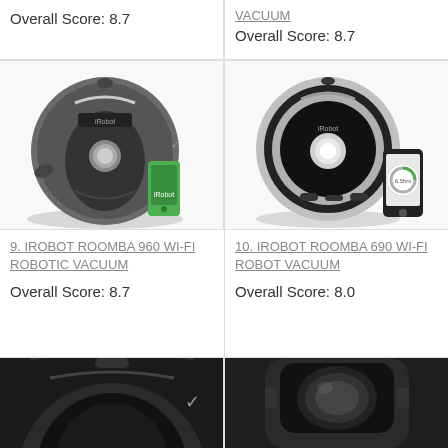Overall Score: 8.7
VACUUM
Overall Score: 8.7
[Figure (photo): iRobot Roomba 960 Wi-Fi Robotic Vacuum robot with green smartphone showing iRobot app]
[Figure (photo): iRobot Roomba 690 Wi-Fi Robot Vacuum with smartphone showing iRobot app]
9. IROBOT ROOMBA 960 WI-FI ROBOTIC VACUUM
Overall Score: 8.7
10. IROBOT ROOMBA 690 WI-FI ROBOT VACUUM
Overall Score: 8.0
[Figure (photo): Bottom/close-up view of a dark robotic vacuum cleaner]
[Figure (photo): Top close-up view of a dark robotic vacuum cleaner with charging dock visible]